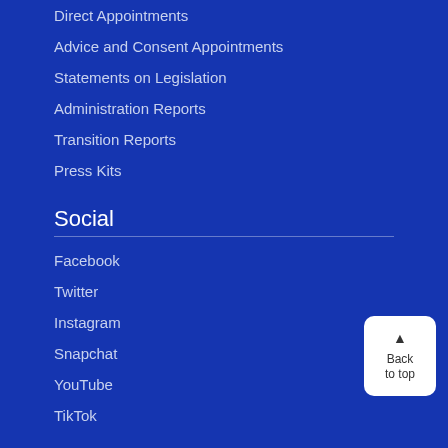Direct Appointments
Advice and Consent Appointments
Statements on Legislation
Administration Reports
Transition Reports
Press Kits
Social
Facebook
Twitter
Instagram
Snapchat
YouTube
TikTok
Contact Us